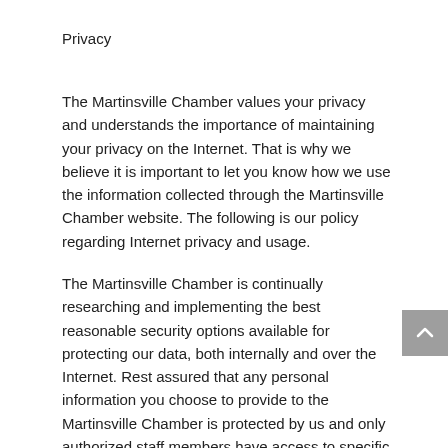Privacy
The Martinsville Chamber values your privacy and understands the importance of maintaining your privacy on the Internet. That is why we believe it is important to let you know how we use the information collected through the Martinsville Chamber website. The following is our policy regarding Internet privacy and usage.
The Martinsville Chamber is continually researching and implementing the best reasonable security options available for protecting our data, both internally and over the Internet. Rest assured that any personal information you choose to provide to the Martinsville Chamber is protected by us and only authorized staff members have access to specific